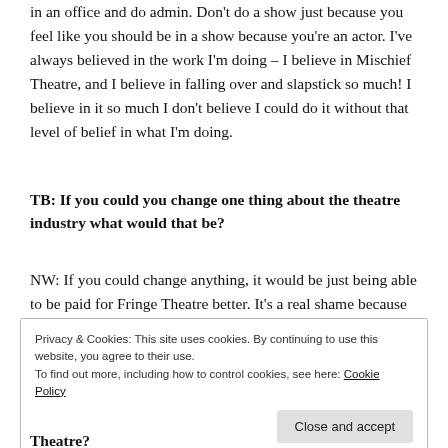in an office and do admin. Don't do a show just because you feel like you should be in a show because you're an actor. I've always believed in the work I'm doing – I believe in Mischief Theatre, and I believe in falling over and slapstick so much! I believe in it so much I don't believe I could do it without that level of belief in what I'm doing.
TB: If you could you change one thing about the theatre industry what would that be?
NW: If you could change anything, it would be just being able to be paid for Fringe Theatre better. It's a real shame because you see amazing companies do amazing work in tiny theatres for no money and there is no difference between the talent
Privacy & Cookies: This site uses cookies. By continuing to use this website, you agree to their use.
To find out more, including how to control cookies, see here: Cookie Policy
Close and accept
Theatre?